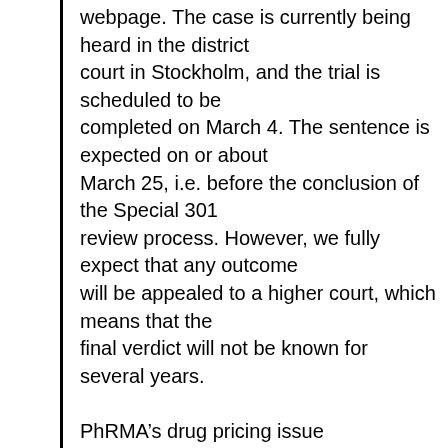webpage. The case is currently being heard in the district court in Stockholm, and the trial is scheduled to be completed on March 4. The sentence is expected on or about March 25, i.e. before the conclusion of the Special 301 review process. However, we fully expect that any outcome will be appealed to a higher court, which means that the final verdict will not be known for several years.
PhRMA’s drug pricing issue
——————————
13. (U) PhRMA has also requested that Sweden be put on the